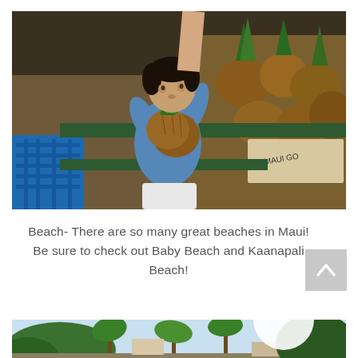[Figure (photo): A young child at a fruit market holding a large pineapple, with boxes of pineapples labeled 'MAUI GO' visible in the background and a blue plastic crate on the left.]
Beach- There are so many great beaches in Maui! Be sure to check out Baby Beach and Kaanapali Beach!
[Figure (photo): Partial view of a tropical beach scene with palm trees, lush greenery, and a white circular shape partially visible, possibly a beach resort or outdoor area.]